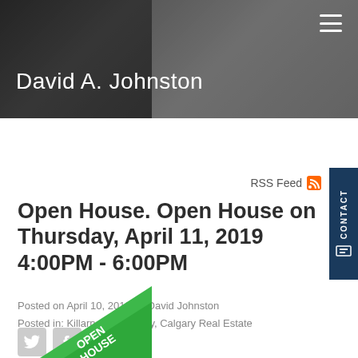David A. Johnston
RSS Feed
Open House. Open House on Thursday, April 11, 2019 4:00PM - 6:00PM
Posted on April 10, 2019 by David Johnston
Posted in: Killarney/Glengarry, Calgary Real Estate
[Figure (other): Social media share icons: Twitter bird, Facebook f, Pinterest p in grey]
[Figure (other): Green diagonal open house ribbon/banner in bottom left corner with text OPEN HOUSE]